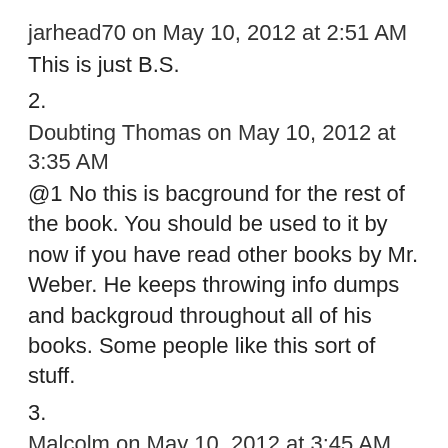jarhead70 on May 10, 2012 at 2:51 AM
This is just B.S.
2.
Doubting Thomas on May 10, 2012 at 3:35 AM
@1 No this is bacground for the rest of the book. You should be used to it by now if you have read other books by Mr. Weber. He keeps throwing info dumps and backgroud throughout all of his books. Some people like this sort of stuff.
3.
Malcolm on May 10, 2012 at 3:45 AM
Why on earth is an elderly Archbishop Cahnyr going into Glacierheart in the midst of winter with what seems like little security from the roving bandits mentioned in Snippet 1 and clearly endangering his health.?? And how do